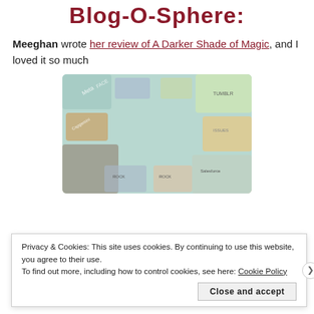Blog-O-Sphere:
Meeghan wrote her review of A Darker Shade of Magic, and I loved it so much
[Figure (infographic): WordPress VIP advertisement showing colorful cards in background with a white circle overlay containing text: We're the WordPress CMS for Very Important Content, with WordPress VIP logo and Learn more button]
Privacy & Cookies: This site uses cookies. By continuing to use this website, you agree to their use.
To find out more, including how to control cookies, see here: Cookie Policy
Close and accept